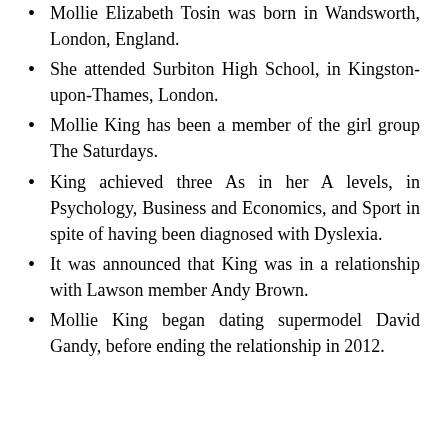Mollie Elizabeth Tosin was born in Wandsworth, London, England.
She attended Surbiton High School, in Kingston-upon-Thames, London.
Mollie King has been a member of the girl group The Saturdays.
King achieved three As in her A levels, in Psychology, Business and Economics, and Sport in spite of having been diagnosed with Dyslexia.
It was announced that King was in a relationship with Lawson member Andy Brown.
Mollie King began dating supermodel David Gandy, before ending the relationship in 2012.